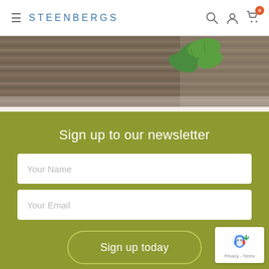STEENBERGS
[Figure (photo): Close-up photo of wood planks with green mint leaves on top, serving as a hero/banner image for the Steenbergs website]
Sign up to our newsletter
Your Name
Your Email
Sign up today
[Figure (other): Google reCAPTCHA badge with robot icon, showing Privacy and Terms links]